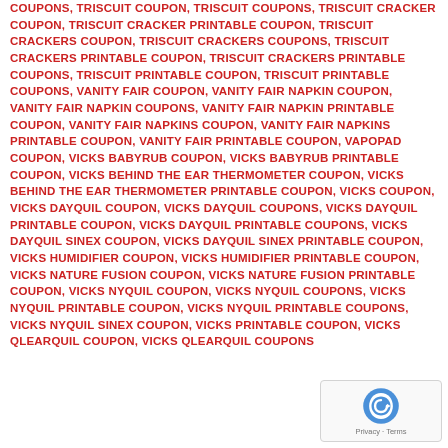COUPONS, TRISCUIT COUPON, TRISCUIT COUPONS, TRISCUIT CRACKER COUPON, TRISCUIT CRACKER PRINTABLE COUPON, TRISCUIT CRACKERS COUPON, TRISCUIT CRACKERS COUPONS, TRISCUIT CRACKERS PRINTABLE COUPON, TRISCUIT CRACKERS PRINTABLE COUPONS, TRISCUIT PRINTABLE COUPON, TRISCUIT PRINTABLE COUPONS, VANITY FAIR COUPON, VANITY FAIR NAPKIN COUPON, VANITY FAIR NAPKIN COUPONS, VANITY FAIR NAPKIN PRINTABLE COUPON, VANITY FAIR NAPKINS COUPON, VANITY FAIR NAPKINS PRINTABLE COUPON, VANITY FAIR PRINTABLE COUPON, VAPOPAD COUPON, VICKS BABYRUB COUPON, VICKS BABYRUB PRINTABLE COUPON, VICKS BEHIND THE EAR THERMOMETER COUPON, VICKS BEHIND THE EAR THERMOMETER PRINTABLE COUPON, VICKS COUPON, VICKS DAYQUIL COUPON, VICKS DAYQUIL COUPONS, VICKS DAYQUIL PRINTABLE COUPON, VICKS DAYQUIL PRINTABLE COUPONS, VICKS DAYQUIL SINEX COUPON, VICKS DAYQUIL SINEX PRINTABLE COUPON, VICKS HUMIDIFIER COUPON, VICKS HUMIDIFIER PRINTABLE COUPON, VICKS NATURE FUSION COUPON, VICKS NATURE FUSION PRINTABLE COUPON, VICKS NYQUIL COUPON, VICKS NYQUIL COUPONS, VICKS NYQUIL PRINTABLE COUPON, VICKS NYQUIL PRINTABLE COUPONS, VICKS NYQUIL SINEX COUPON, VICKS PRINTABLE COUPON, VICKS QLEARQUIL COUPON, VICKS QLEARQUIL COUPONS